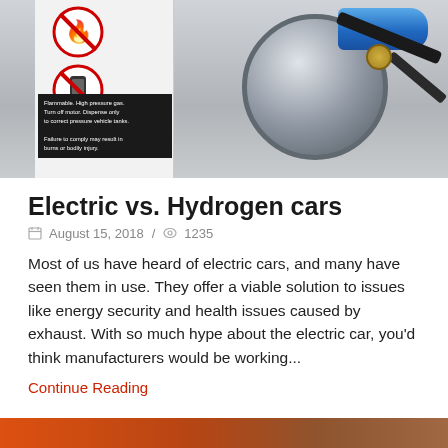[Figure (photo): Photo of a hydrogen fueling station dispenser with warning signs showing no fire and no phone symbols, and a black warning label. Metal dispenser with blue cylinder and hose visible.]
Electric vs. Hydrogen cars
August 15, 2018 / 1235
Most of us have heard of electric cars, and many have seen them in use. They offer a viable solution to issues like energy security and health issues caused by exhaust. With so much hype about the electric car, you'd think manufacturers would be working...
Continue Reading
[Figure (photo): Partial photo visible at the bottom of the page, appears to show orange/warm colored vehicle or related imagery.]